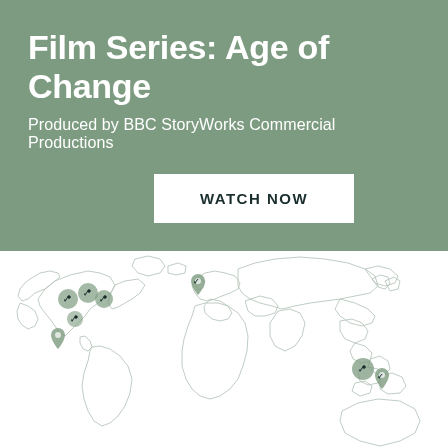Film Series: Age of Change
Produced by BBC StoryWorks Commercial Productions
WATCH NOW
[Figure (map): World map with location pins/markers clustered in North America (west coast area), one in Europe (UK/western Europe), and several in Southeast Asia (Malaysia/Indonesia area). Map is light gray outline style on white background.]